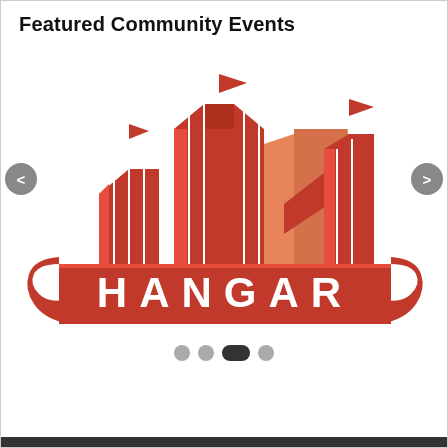Featured Community Events
[Figure (logo): Hangar Theatre logo — red stylized building/hangar with flags on top, large red banner with white text 'HANGAR', with carousel navigation arrows on left and right]
Hangar Theatre 2022 Mainstage Season